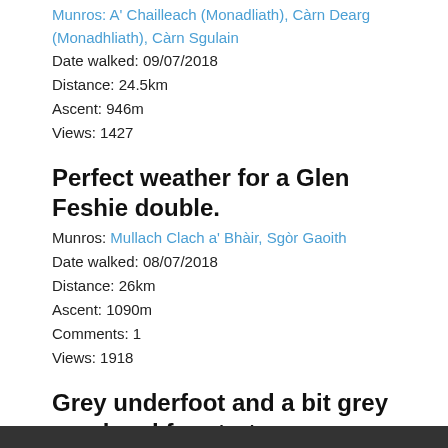Munros: A' Chailleach (Monadliath), Càrn Dearg (Monadhliath), Càrn Sgulain
Date walked: 09/07/2018
Distance: 24.5km
Ascent: 946m
Views: 1427
Perfect weather for a Glen Feshie double.
Munros: Mullach Clach a' Bhàir, Sgòr Gaoith
Date walked: 08/07/2018
Distance: 26km
Ascent: 1090m
Comments: 1
Views: 1918
Grey underfoot and a bit grey overhead for starters.
Munros: Sgùrr Chòinnich Mòr, Stob Choire Claurigh, Stob Coire an Laoigh
Date walked: 22/06/2018
Distance: 21.5km